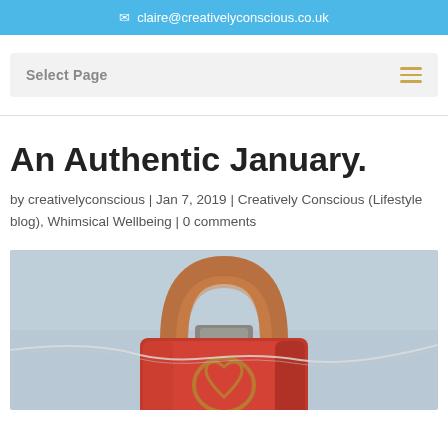claire@creativelyconscious.co.uk
Select Page
An Authentic January.
by creativelyconscious | Jan 7, 2019 | Creatively Conscious (Lifestyle blog), Whimsical Wellbeing | 0 comments
[Figure (photo): Close-up photo of a red padlock with a heart-shaped cutout in the body, hanging against a light blue/grey background.]